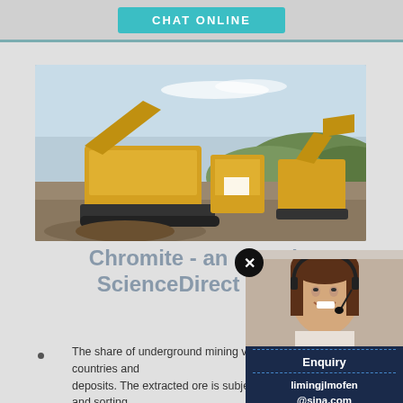[Figure (other): CHAT ONLINE teal button on grey bar]
[Figure (photo): Yellow mining crusher and excavator machinery at an outdoor quarry site with hills in background]
Chromite - an overview | ScienceDirect Topics
The share of underground mining varies between countries and deposits. The extracted ore is subjected to crushing and sorting
[Figure (photo): Customer service representative woman with headset smiling, with chat overlay panel showing: Have any requests, click here, Quote button, Enquiry, limingjlmofen@sina.com]